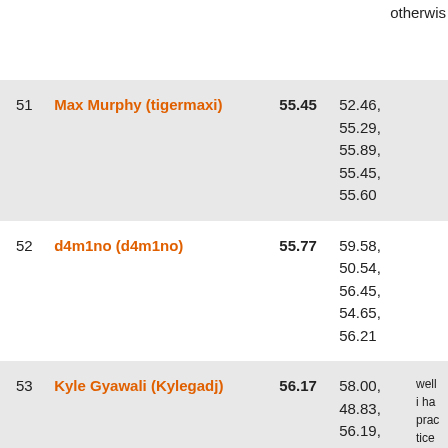otherwis
| # | Name | Score | Rounds | Comment |
| --- | --- | --- | --- | --- |
| 51 | Max Murphy (tigermaxi) | 55.45 | 52.46,
55.29,
55.89,
55.45,
55.60 |  |
| 52 | d4m1no (d4m1no) | 55.77 | 59.58,
50.54,
56.45,
54.65,
56.21 |  |
| 53 | Kyle Gyawali (Kylegadj) | 56.17 | 58.00,
48.83,
56.19,
55.82,
56.51 | well i ha practice in a lon so i don care :P i got a s |
| 54 | Glomnipotent (Glomnipotent) | 56.34 | 54.36,
58.17,
47.33,
1:00.84, |  |